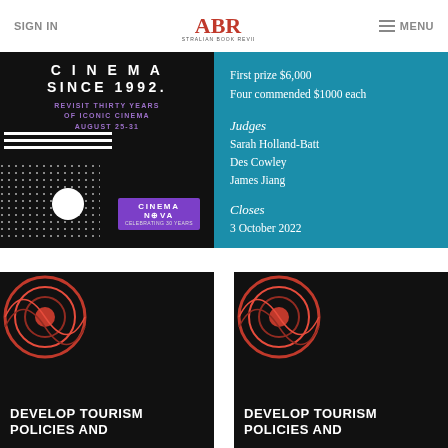SIGN IN | ABR Australian Book Review | MENU
[Figure (photo): Cinema Nova 30 years promotional banner: black background with 'CINEMA SINCE 1992.' in white bold text, purple text 'REVISIT THIRTY YEARS OF ICONIC CINEMA AUGUST 25-31', dotted grid pattern, white circle, and Cinema Nova logo in purple]
First prize $6,000
Four commended $1000 each

Judges
Sarah Holland-Batt
Des Cowley
James Jiang

Closes
3 October 2022
[Figure (photo): Develop Tourism Policies and – black card with red swirling abstract image in top left corner]
[Figure (photo): Develop Tourism Policies and – black card with red swirling abstract image in top left corner]